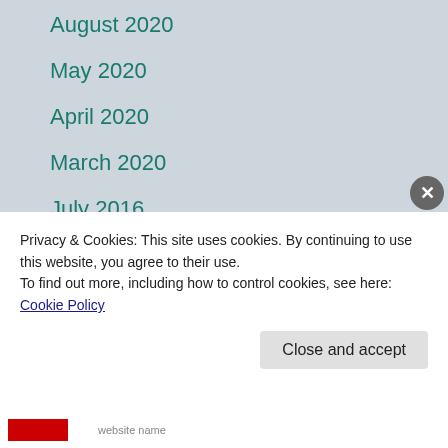August 2020
May 2020
April 2020
March 2020
July 2016
February 2016
June 2015
March 2015
January 2015
Privacy & Cookies: This site uses cookies. By continuing to use this website, you agree to their use.
To find out more, including how to control cookies, see here: Cookie Policy
Close and accept